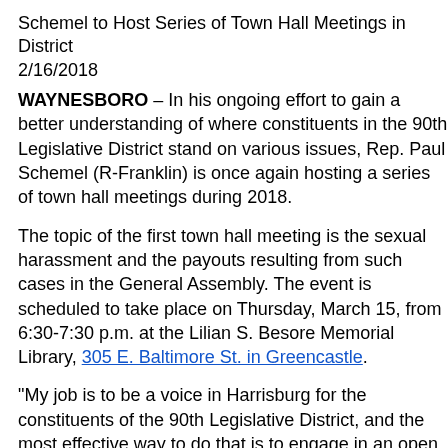Schemel to Host Series of Town Hall Meetings in District
2/16/2018
WAYNESBORO – In his ongoing effort to gain a better understanding of where constituents in the 90th Legislative District stand on various issues, Rep. Paul Schemel (R-Franklin) is once again hosting a series of town hall meetings during 2018.
The topic of the first town hall meeting is the sexual harassment and the payouts resulting from such cases in the General Assembly. The event is scheduled to take place on Thursday, March 15, from 6:30-7:30 p.m. at the Lilian S. Besore Memorial Library, 305 E. Baltimore St. in Greencastle.
"My job is to be a voice in Harrisburg for the constituents of the 90th Legislative District, and the most effective way to do that is to engage in an open dialogue with the people who have sent me to the General Assembly to represent them," said Schemel. "I encourage their participation in these upcoming town hall meetings."
The topics and schedule of the other town hall meetings, which will run from 6:30-7:30 p.m., are as follows:
Veterans' Issues, Thursday, May 17, American Legion Post 373, 254 S. Carlisle St. in Greencastle.
Legislative Districting and Gerrymandering, Thursday...